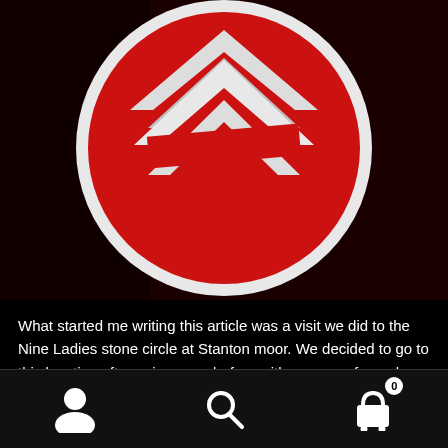[Figure (illustration): Partial view of a circular emblem/badge with a red background and a white chevron/arrow symbol pointing upward, on a dark/black background]
What started me writing this article was a visit we did to the Nine Ladies stone circle at Stanton moor. We decided to go to this location after going once before with a group of people that often visit the site to meditate. It is said the stone circle is on a crossing of major ley lines and from what I can remember it is a very peaceful place.  After going to the site I found a few pieces of information that I found rather interesting.
[Figure (screenshot): Mobile app bottom navigation bar with three icons: user/account icon on the left, search (magnifying glass) icon in the center, and shopping cart icon with a badge showing '0' on the right]